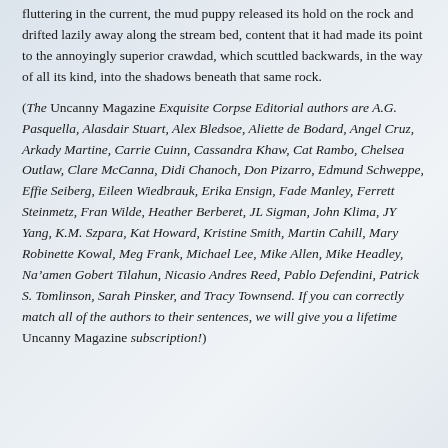fluttering in the current, the mud puppy released its hold on the rock and drifted lazily away along the stream bed, content that it had made its point to the annoyingly superior crawdad, which scuttled backwards, in the way of all its kind, into the shadows beneath that same rock.
(The Uncanny Magazine Exquisite Corpse Editorial authors are A.G. Pasquella, Alasdair Stuart, Alex Bledsoe, Aliette de Bodard, Angel Cruz, Arkady Martine, Carrie Cuinn, Cassandra Khaw, Cat Rambo, Chelsea Outlaw, Clare McCanna, Didi Chanoch, Don Pizarro, Edmund Schweppe, Effie Seiberg, Eileen Wiedbrauk, Erika Ensign, Fade Manley, Ferrett Steinmetz, Fran Wilde, Heather Berberet, JL Sigman, John Klima, JY Yang, K.M. Szpara, Kat Howard, Kristine Smith, Martin Cahill, Mary Robinette Kowal, Meg Frank, Michael Lee, Mike Allen, Mike Headley, Na’amen Gobert Tilahun, Nicasio Andres Reed, Pablo Defendini, Patrick S. Tomlinson, Sarah Pinsker, and Tracy Townsend. If you can correctly match all of the authors to their sentences, we will give you a lifetime Uncanny Magazine subscription!)